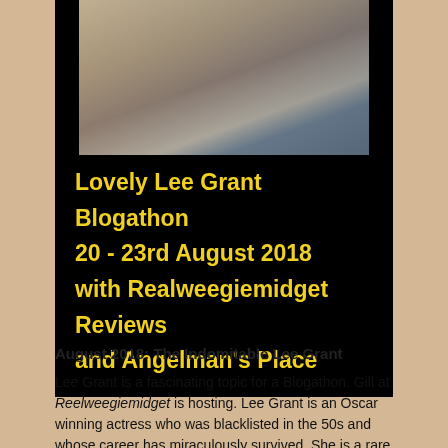[Figure (photo): Photo of a woman with long brown hair wearing a grey/blue top, seated in front of a light background, cropped at top.]
Lovely Lee Grant Blogathon 20 - 23rd August 2018 with Realweegiemidget Reviews and Angelman's Place
August 2018: The Indomitable Lee Grant
Lee Grant is a fascinating topic for a Blogathon. Gill at Reelweegiemidget is hosting. Lee Grant is an Oscar winning actress who was blacklisted in the 50s and whose career has miraculously survived. She is a rare actress who has dipped her toes on the screen...